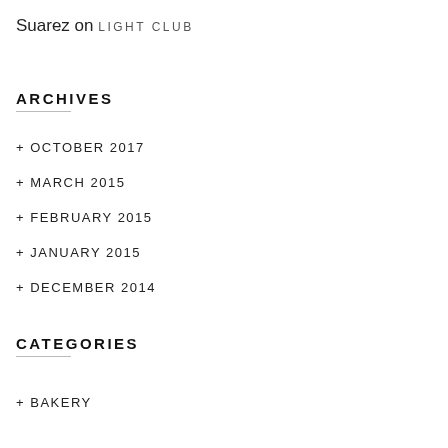Suarez on LIGHT CLUB
ARCHIVES
+ OCTOBER 2017
+ MARCH 2015
+ FEBRUARY 2015
+ JANUARY 2015
+ DECEMBER 2014
CATEGORIES
+ BAKERY